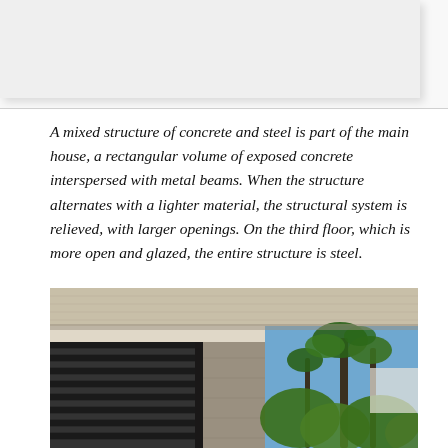[Figure (photo): Partial view of a building facade showing a white/cream ceiling overhang, vertical louvered metal shutters on the left, a concrete wall, and lush green palm trees and tropical vegetation visible on the right against a blue sky.]
A mixed structure of concrete and steel is part of the main house, a rectangular volume of exposed concrete interspersed with metal beams. When the structure alternates with a lighter material, the structural system is relieved, with larger openings. On the third floor, which is more open and glazed, the entire structure is steel.
[Figure (photo): Architectural photograph showing the exterior of a building: exposed concrete ceiling slab, vertical metal louvered shutters/roller blinds on the left side, a concrete column, and tropical trees (palms, green foliage) visible on the right under a clear blue sky.]